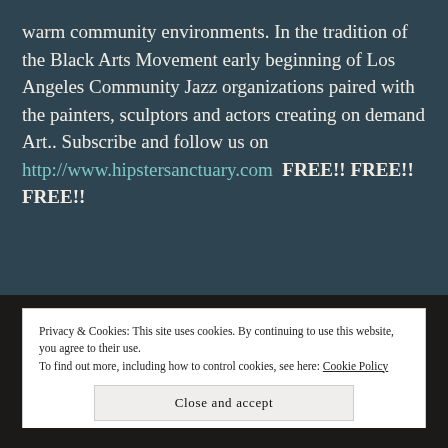warm community environments. In the tradition of the Black Arts Movement early beginning of Los Angeles Community Jazz organizations paired with the painters, sculptors and actors creating on demand Art.. Subscribe and follow us on http://www.hipstersanctuary.com  FREE!! FREE!! FREE!!
Privacy & Cookies: This site uses cookies. By continuing to use this website, you agree to their use.
To find out more, including how to control cookies, see here: Cookie Policy
Close and accept